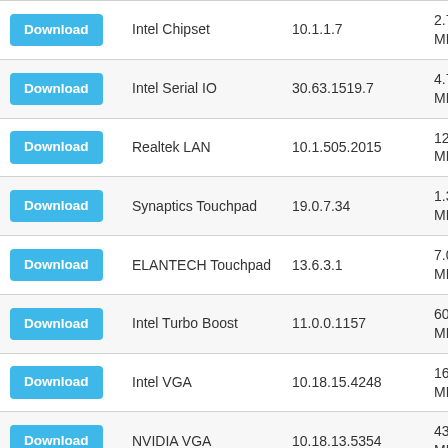|  | Driver | Version | Size |
| --- | --- | --- | --- |
| Download | Intel Chipset | 10.1.1.7 | 2.7 MB |
| Download | Intel Serial IO | 30.63.1519.7 | 4.7 MB |
| Download | Realtek LAN | 10.1.505.2015 | 12.4 MB |
| Download | Synaptics Touchpad | 19.0.7.34 | 1.3 MB |
| Download | ELANTECH Touchpad | 13.6.3.1 | 7.0 MB |
| Download | Intel Turbo Boost | 11.0.0.1157 | 60.7 MB |
| Download | Intel VGA | 10.18.15.4248 | 165.3 MB |
| Download | NVIDIA VGA | 10.18.13.5354 | 431.1 MB |